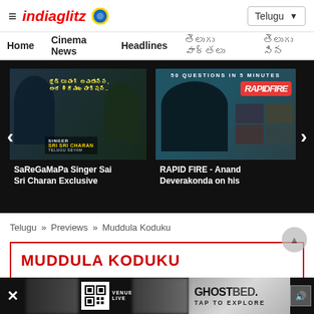indiaglitz | Telugu
Home   Cinema News   Headlines   తెలుగు వార్తలు   తెలుగు సినిమా
[Figure (screenshot): Video thumbnail for SaReGaMaPa Singer Sai Sri Charan Exclusive with Telugu text and singer name]
SaReGaMaPa Singer Sai Sri Charan Exclusive
[Figure (screenshot): Video thumbnail for RAPID FIRE - Anand Deverakonda on his, showing '50 QUESTIONS IN 5 MINUTES' and RAPIDFIRE logo]
RAPID FIRE - Anand Deverakonda on his
Telugu » Previews » Muddula Koduku
MUDDULA KODUKU
[Figure (screenshot): GhostBed advertisement bar at bottom with 'TAP TO EXPLORE' text and speaker icon]